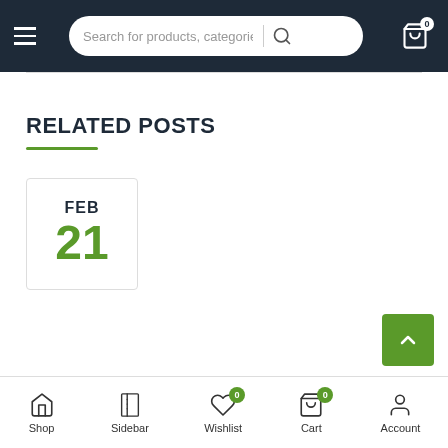Navigation bar with hamburger menu, search bar, and cart icon (0 items)
RELATED POSTS
[Figure (other): Date card showing FEB 21]
[Figure (other): Scroll to top button (green arrow)]
Shop | Sidebar | Wishlist (0) | Cart (0) | Account